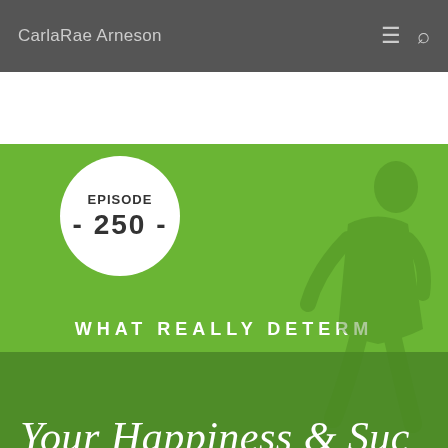CarlaRae Arneson
[Figure (illustration): Episode 250 podcast thumbnail with green background, person silhouette on stairs, text 'WHAT REALLY DETERM', 'Your Happiness & Suc', 'LIFE MADE SIMPLE']
EPISODE - 250 -
WHAT REALLY DETERM
Your Happiness & Suc
LIFE MADE SIMPLE